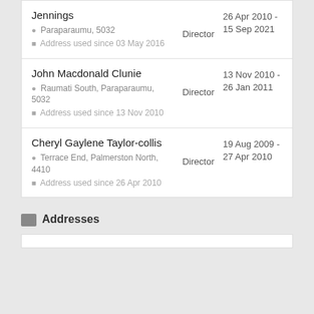| Name / Address | Role | Dates |
| --- | --- | --- |
| Jennings
Paraparaumu, 5032
Address used since 03 May 2016 | Director | 26 Apr 2010 - 15 Sep 2021 |
| John Macdonald Clunie
Raumati South, Paraparaumu, 5032
Address used since 13 Nov 2010 | Director | 13 Nov 2010 - 26 Jan 2011 |
| Cheryl Gaylene Taylor-collis
Terrace End, Palmerston North, 4410
Address used since 26 Apr 2010 | Director | 19 Aug 2009 - 27 Apr 2010 |
Addresses